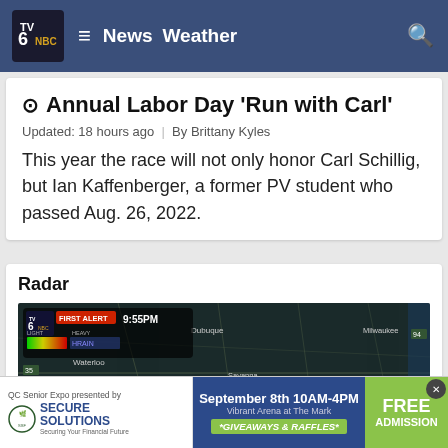TV6 NBC — News   Weather
⊙ Annual Labor Day 'Run with Carl'
Updated: 18 hours ago  |  By Brittany Kyles
This year the race will not only honor Carl Schillig, but Ian Kaffenberger, a former PV student who passed Aug. 26, 2022.
Radar
[Figure (map): Weather radar map showing Midwest region including Iowa City, Waterloo, Dubuque, Clinton, Savanna, Sterling, Chicago, Milwaukee, Muscatine, Princeton, Kewanee areas with timestamp 9:55PM and LIGHT to HEAVY precipitation scale.]
[Figure (infographic): Advertisement: QC Senior Expo presented by Secure Solutions. September 8th 10AM-4PM, Vibrant Arena at The Mark. *GIVEAWAYS & RAFFLES*. FREE ADMISSION.]